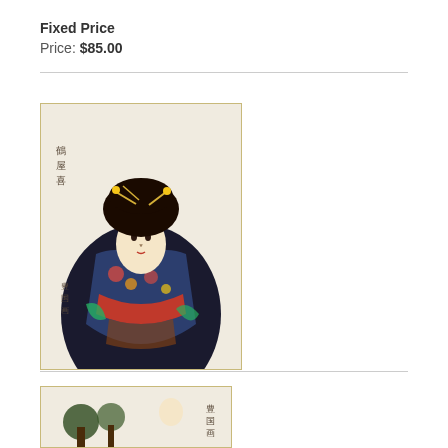Fixed Price
Price: $85.00
[Figure (illustration): Japanese woodblock print of a woman (Yosooi of the Matsuba) in elaborate kimono with black hair ornaments]
Yosooi of the Matsuba
Toyokuni I (1769 - 1825)
Fixed Price
Price: $125.00
[Figure (illustration): Partial view of another Japanese woodblock print at the bottom of the page]